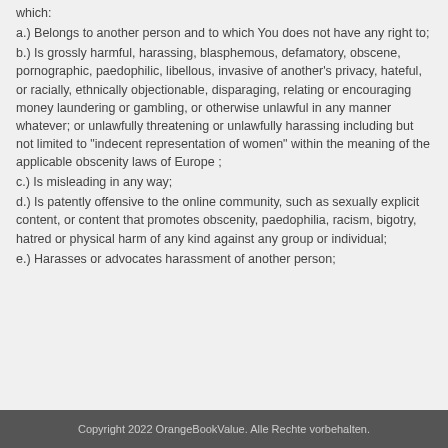which:
a.) Belongs to another person and to which You does not have any right to;
b.) Is grossly harmful, harassing, blasphemous, defamatory, obscene, pornographic, paedophilic, libellous, invasive of another's privacy, hateful, or racially, ethnically objectionable, disparaging, relating or encouraging money laundering or gambling, or otherwise unlawful in any manner whatever; or unlawfully threatening or unlawfully harassing including but not limited to "indecent representation of women" within the meaning of the applicable obscenity laws of Europe ;
c.) Is misleading in any way;
d.) Is patently offensive to the online community, such as sexually explicit content, or content that promotes obscenity, paedophilia, racism, bigotry, hatred or physical harm of any kind against any group or individual;
e.) Harasses or advocates harassment of another person;
Copyright 2022 OrangeBookValue. Alle Rechte vorbehalten.